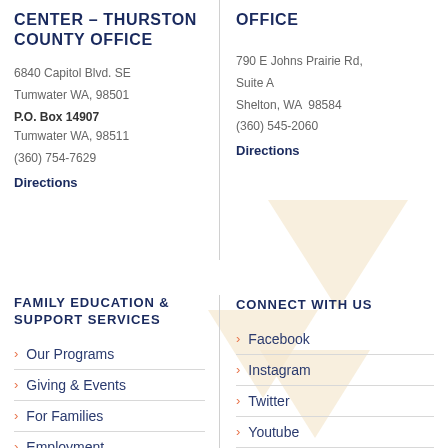CENTER – THURSTON COUNTY OFFICE
6840 Capitol Blvd. SE
Tumwater WA, 98501
P.O. Box 14907
Tumwater WA, 98511
(360) 754-7629
Directions
OFFICE
790 E Johns Prairie Rd, Suite A
Shelton, WA  98584
(360) 545-2060
Directions
FAMILY EDUCATION & SUPPORT SERVICES
Our Programs
Giving & Events
For Families
Employment
CONNECT WITH US
Facebook
Instagram
Twitter
Youtube